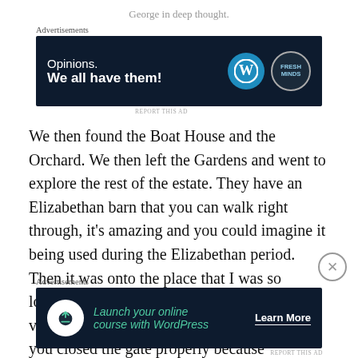George in deep thought.
[Figure (other): Advertisement banner: 'Opinions. We all have them!' with WordPress and Fresh Minds logos on dark navy background.]
We then found the Boat House and the Orchard. We then left the Gardens and went to explore the rest of the estate. They have an Elizabethan barn that you can walk right through, it’s amazing and you could imagine it being used during the Elizabethan period. Then it was onto the place that I was so looking forward to seeing, and that was the vegetable garden. You needed to make sure you closed the gate properly because otherwise the rabbits would get
[Figure (other): Advertisement banner: 'Launch your online course with WordPress' with Learn More button on dark navy background.]